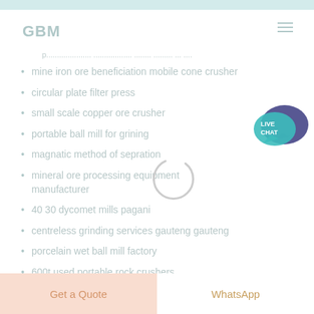GBM
p................... ................... ........ ........ ... ....
mine iron ore beneficiation mobile cone crusher
circular plate filter press
small scale copper ore crusher
portable ball mill for grining
magnatic method of sepration
mineral ore processing equipment manufacturer
40 30 dycomet mills pagani
centreless grinding services gauteng gauteng
porcelain wet ball mill factory
600t used portable rock crushers
li ne mini gypsum mineral jaw crusher
[Figure (illustration): Live chat button with speech bubble icons, teal/dark blue colors, text: LIVE CHAT]
[Figure (illustration): Loading spinner circle, grey outline]
Get a Quote
WhatsApp